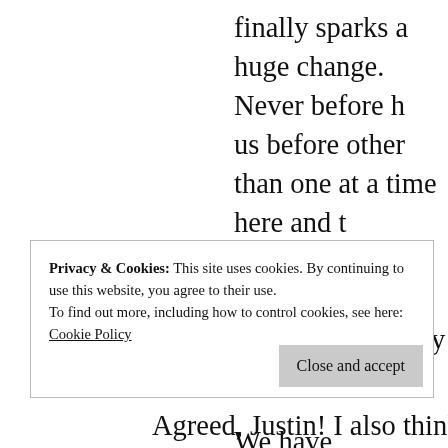finally sparks a huge change. Never before h us before other than one at a time here and t have come together to support us and say “M
We have momentum now (see also that Can already raised $73K in just four days and the in the works) This is the turning point. We c the hill now. Lets ALL get together and give it permit. NOW is the time to call in your favor friends and family to support us in crushing am doing and if we all do it, we will exponent become unstoppable! The AIDS patients did when?
Privacy & Cookies: This site uses cookies. By continuing to use this website, you agree to their use.
To find out more, including how to control cookies, see here: Cookie Policy
Agreed, Justin! I also think it would be